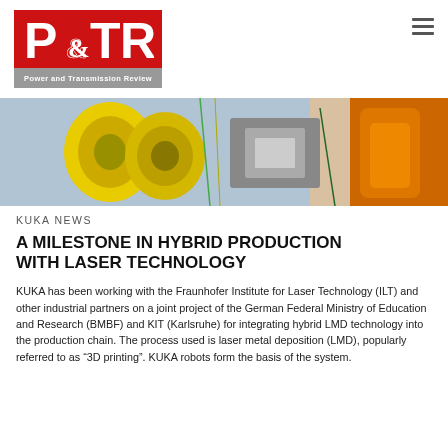[Figure (logo): P&TR Power and Transmission Review logo on red and grey background]
[Figure (photo): Industrial laser technology setup with yellow drum components and orange KUKA robot arm with laser deposition head in a laboratory environment]
KUKA NEWS
A MILESTONE IN HYBRID PRODUCTION WITH LASER TECHNOLOGY
KUKA has been working with the Fraunhofer Institute for Laser Technology (ILT) and other industrial partners on a joint project of the German Federal Ministry of Education and Research (BMBF) and KIT (Karlsruhe) for integrating hybrid LMD technology into the production chain. The process used is laser metal deposition (LMD), popularly referred to as “3D printing”. KUKA robots form the basis of the system.